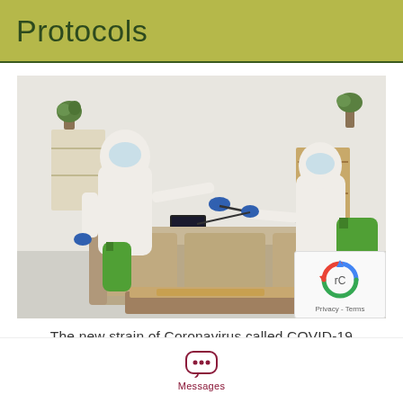Protocols
[Figure (photo): Two workers in white hazmat/protective suits and blue gloves using green backpack sprayers to disinfect a living room with a couch, coffee table, and shelving unit in the background.]
The new strain of Coronavirus called COVID-19
...
Messages